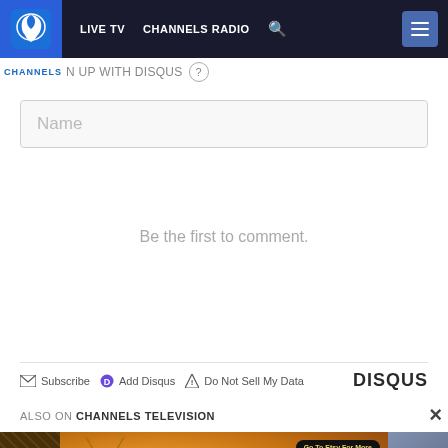[Figure (screenshot): Channels Television website navigation bar with logo, LIVE TV, CHANNELS RADIO, search icon, and hamburger menu button on dark navy background]
CHANNELS N UP WITH DISQUS ?
Name
Be the first to comment.
Subscribe  Add Disqus  Do Not Sell My Data  DISQUS
ALSO ON CHANNELS TELEVISION
[Figure (photo): Advertisement image with colorful artwork showing a sun/bee figure, text 'Go To Etsy For More' and 'Jurga Creations' logo watermark]